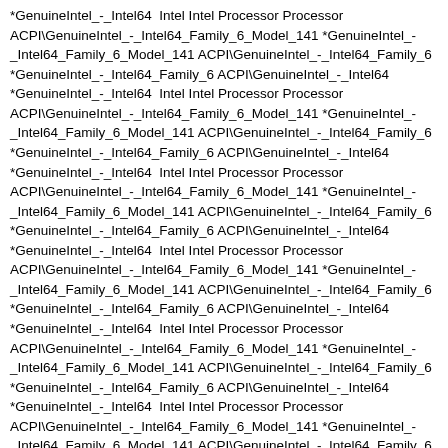*GenuineIntel_-_Intel64  Intel Intel Processor Processor ACPI\GenuineIntel_-_Intel64_Family_6_Model_141 *GenuineIntel_-_Intel64_Family_6_Model_141 ACPI\GenuineIntel_-_Intel64_Family_6 *GenuineIntel_-_Intel64_Family_6 ACPI\GenuineIntel_-_Intel64 *GenuineIntel_-_Intel64  Intel Intel Processor Processor ACPI\GenuineIntel_-_Intel64_Family_6_Model_141 *GenuineIntel_-_Intel64_Family_6_Model_141 ACPI\GenuineIntel_-_Intel64_Family_6 *GenuineIntel_-_Intel64_Family_6 ACPI\GenuineIntel_-_Intel64 *GenuineIntel_-_Intel64  Intel Intel Processor Processor ACPI\GenuineIntel_-_Intel64_Family_6_Model_141 *GenuineIntel_-_Intel64_Family_6_Model_141 ACPI\GenuineIntel_-_Intel64_Family_6 *GenuineIntel_-_Intel64_Family_6 ACPI\GenuineIntel_-_Intel64 *GenuineIntel_-_Intel64  Intel Intel Processor Processor ACPI\GenuineIntel_-_Intel64_Family_6_Model_141 *GenuineIntel_-_Intel64_Family_6_Model_141 ACPI\GenuineIntel_-_Intel64_Family_6 *GenuineIntel_-_Intel64_Family_6 ACPI\GenuineIntel_-_Intel64 *GenuineIntel_-_Intel64  Intel Intel Processor Processor ACPI\GenuineIntel_-_Intel64_Family_6_Model_141 *GenuineIntel_-_Intel64_Family_6_Model_141 ACPI\GenuineIntel_-_Intel64_Family_6 *GenuineIntel_-_Intel64_Family_6 ACPI\GenuineIntel_-_Intel64 *GenuineIntel_-_Intel64  Intel Intel Processor Processor ACPI\GenuineIntel_-_Intel64_Family_6_Model_141 *GenuineIntel_-_Intel64_Family_6_Model_141 ACPI\GenuineIntel_-_Intel64_Family_6